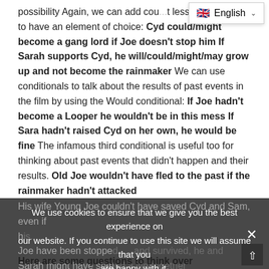possibility Again, we can add cou... t less probable and to have an element of choice: Cyd could/might become a gang lord if Joe doesn't stop him If Sarah supports Cyd, he will/could/might/may grow up and not become the rainmaker We can use conditionals to talk about the results of past events in the film by using the Would conditional: If Joe hadn't become a Looper he wouldn't be in this mess If Sara hadn't raised Cyd on her own, he would be fine The infamous third conditional is useful too for thinking about past events that didn't happen and their results. Old Joe wouldn't have fled to the past if the rainmaker hadn't attacked
[Figure (screenshot): Cookie consent banner overlay with dark background: 'We use cookies to ensure that we give you the best experience on our website. If you continue to use this site we will assume that you are happy with it.' with an 'I AGREE' button and a close X button.]
[Figure (screenshot): Language selector dropdown showing UK flag emoji and 'English' with a chevron/dropdown arrow.]
His wife Young Joe couldn't have saved Cyd and Sam, even if he had... Joe have been stopp... survived, he and Sarah might have start... Here are some questions to think over